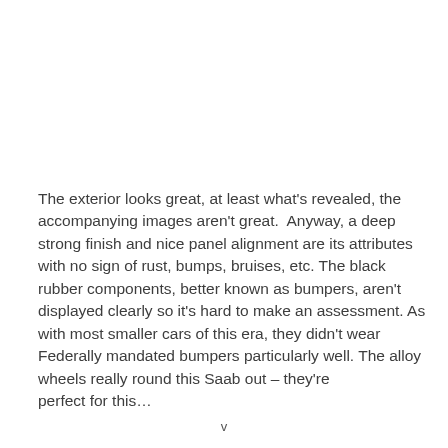The exterior looks great, at least what's revealed, the accompanying images aren't great.  Anyway, a deep strong finish and nice panel alignment are its attributes with no sign of rust, bumps, bruises, etc. The black rubber components, better known as bumpers, aren't displayed clearly so it's hard to make an assessment. As with most smaller cars of this era, they didn't wear Federally mandated bumpers particularly well. The alloy wheels really round this Saab out – they're perfect for this…
v